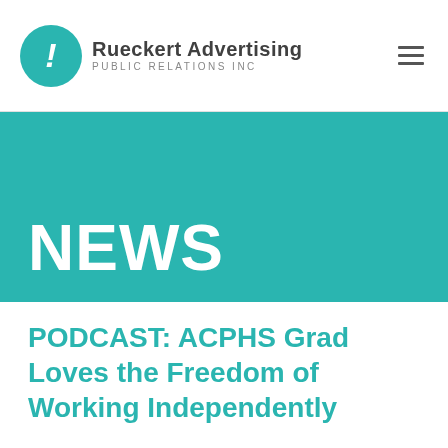[Figure (logo): Rueckert Advertising Public Relations Inc logo — teal circle with exclamation mark, company name in bold dark text]
NEWS
PODCAST: ACPHS Grad Loves the Freedom of Working Independently